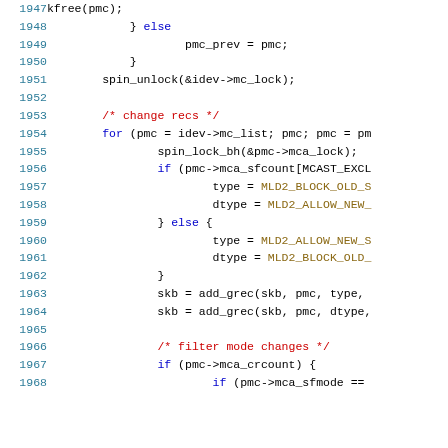Source code listing, lines 1947–1968, showing C kernel code for multicast handling including spin_unlock, change recs loop, filter mode changes logic.